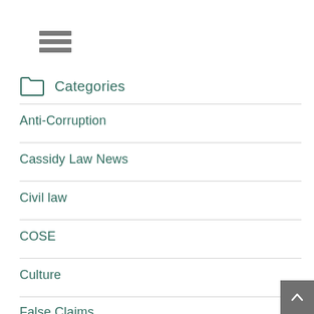[Figure (other): Hamburger menu icon with three horizontal grey bars]
Categories
Anti-Corruption
Cassidy Law News
Civil law
COSE
Culture
False Claims
General Ethics & Compliance